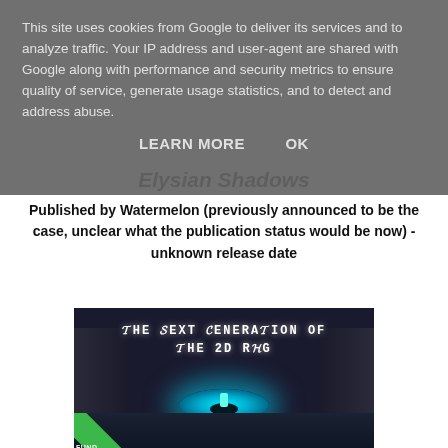This site uses cookies from Google to deliver its services and to analyze traffic. Your IP address and user-agent are shared with Google along with performance and security metrics to ensure quality of service, generate usage statistics, and to detect and address abuse.
LEARN MORE    OK
Elysian Shadows
Published by Watermelon (previously announced to be the case, unclear what the publication status would be now) - unknown release date
[Figure (screenshot): Game promotional image for Elysian Shadows showing 'THE NEXT GENERATION OF THE 2D RPG' text with a glowing blue circular portal/floor element in a dark sci-fi corridor, with a green corner banner partially showing 'FUND']